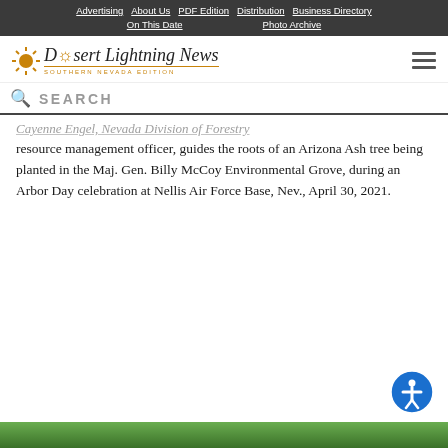Advertising | About Us | PDF Edition | Distribution | Business Directory | On This Date | Photo Archive
[Figure (logo): Desert Lightning News logo with sun graphic and 'Southern Nevada Edition' subtitle]
SEARCH
Cayenne Engel, Nevada Division of Forestry resource management officer, guides the roots of an Arizona Ash tree being planted in the Maj. Gen. Billy McCoy Environmental Grove, during an Arbor Day celebration at Nellis Air Force Base, Nev., April 30, 2021.
[Figure (photo): Green tree canopy visible at bottom of page]